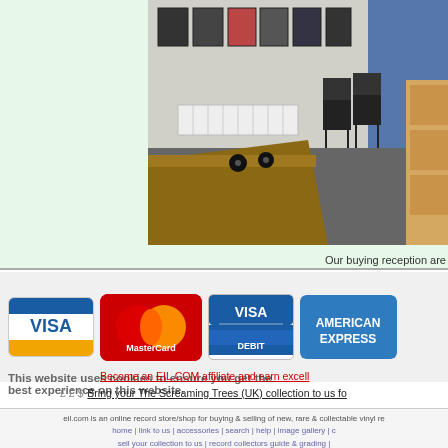[Figure (photo): Interior of a record store buying reception area with framed pictures on wall, chairs, desk, and cardboard boxes]
Our buying reception are
[Figure (infographic): Payment method logos: Visa, MasterCard, Visa Debit, American Express]
This website uses cookies to ensure you get the best experience on this website.
Become an EIL.COM affiliate and earn excell
£ £ $ Bring your The Screaming Trees (UK) collection to us fo
eil.com is an online record store/shop for buying & selling of new, rare & collectable vinyl re
home | link to us | accessories | search | help | image gallery | c
sell your collection to us | record collectors guide & grading |
vinyl-wanted.com | 991.com | contact eil.com | sub